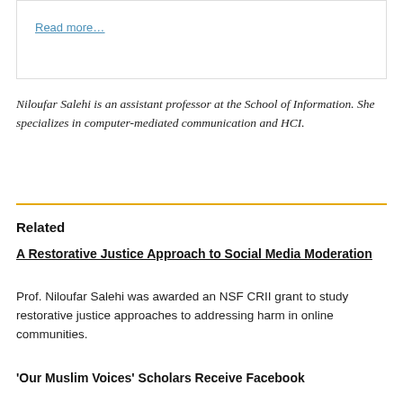Read more…
Niloufar Salehi is an assistant professor at the School of Information. She specializes in computer-mediated communication and HCI.
Related
A Restorative Justice Approach to Social Media Moderation
Prof. Niloufar Salehi was awarded an NSF CRII grant to study restorative justice approaches to addressing harm in online communities.
'Our Muslim Voices' Scholars Receive Facebook